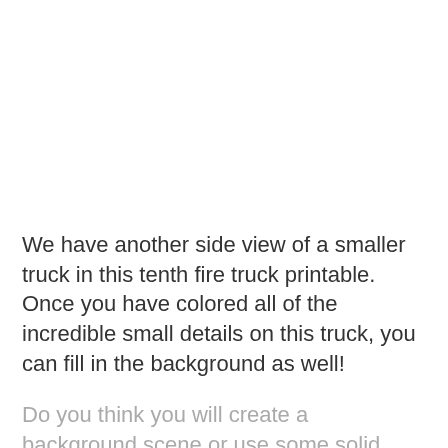We have another side view of a smaller truck in this tenth fire truck printable. Once you have colored all of the incredible small details on this truck, you can fill in the background as well!
Do you think you will create a background scene or use some solid colors instead? We can't wait to see how you color this tenth page!